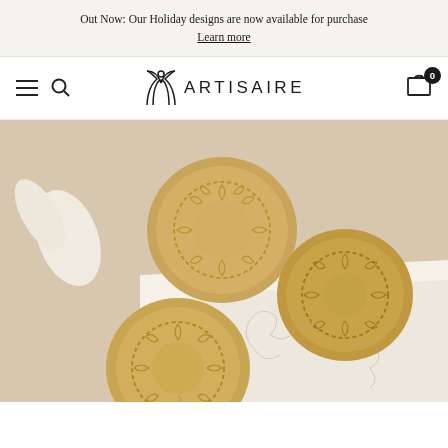Out Now: Our Holiday designs are now available for purchase
Learn more
[Figure (logo): Artisaire brand logo with geometric arch icon and text ARTISAIRE]
[Figure (photo): Three golden wax seals with floral wreath impressions arranged on a cream/white linen background with delicate floral illustrations]